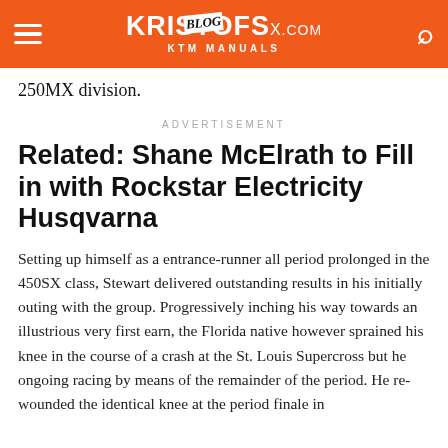KRISTOFSX.com BLOG KTM MANUALS
250MX division.
ADVERTISEMENT
Related: Shane McElrath to Fill in with Rockstar Electricity Husqvarna
Setting up himself as a entrance-runner all period prolonged in the 450SX class, Stewart delivered outstanding results in his initially outing with the group. Progressively inching his way towards an illustrious very first earn, the Florida native however sprained his knee in the course of a crash at the St. Louis Supercross but he ongoing racing by means of the remainder of the period. He re-wounded the identical knee at the period finale in